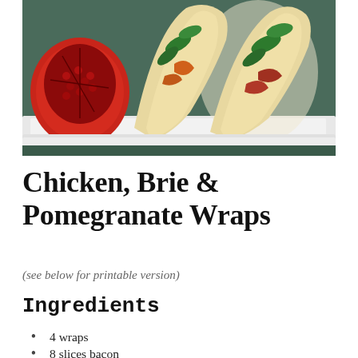[Figure (photo): Two tortilla wraps filled with chicken, spinach, and vegetables served on a white plate, with a halved pomegranate on the left side. Dark teal background.]
Chicken, Brie & Pomegranate Wraps
(see below for printable version)
Ingredients
4 wraps
8 slices bacon